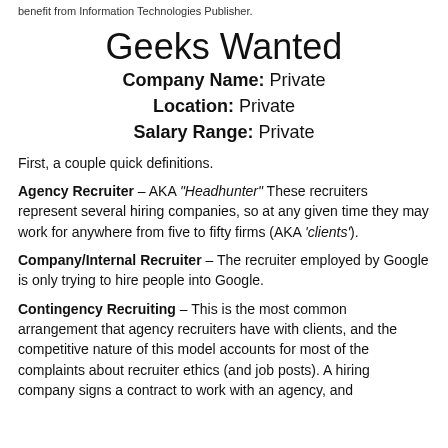benefit from Information Technologies Publisher.
Geeks Wanted
Company Name: Private
Location: Private
Salary Range: Private
First, a couple quick definitions.
Agency Recruiter – AKA "Headhunter" These recruiters represent several hiring companies, so at any given time they may work for anywhere from five to fifty firms (AKA 'clients').
Company/Internal Recruiter – The recruiter employed by Google is only trying to hire people into Google.
Contingency Recruiting – This is the most common arrangement that agency recruiters have with clients, and the competitive nature of this model accounts for most of the complaints about recruiter ethics (and job posts). A hiring company signs a contract to work with an agency, and